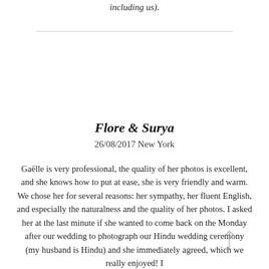including us).
Flore & Surya
26/08/2017  New York
Gaëlle is very professional, the quality of her photos is excellent, and she knows how to put at ease, she is very friendly and warm. We chose her for several reasons: her sympathy, her fluent English, and especially the naturalness and the quality of her photos. I asked her at the last minute if she wanted to come back on the Monday after our wedding to photograph our Hindu wedding ceremony (my husband is Hindu) and she immediately agreed, which we really enjoyed! I